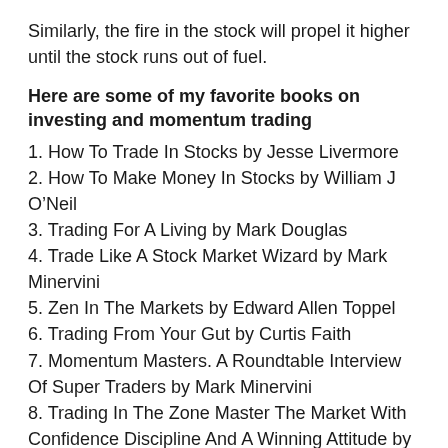Similarly, the fire in the stock will propel it higher until the stock runs out of fuel.
Here are some of my favorite books on investing and momentum trading
1. How To Trade In Stocks by Jesse Livermore
2. How To Make Money In Stocks by William J O’Neil
3. Trading For A Living by Mark Douglas
4. Trade Like A Stock Market Wizard by Mark Minervini
5. Zen In The Markets by Edward Allen Toppel
6. Trading From Your Gut by Curtis Faith
7. Momentum Masters. A Roundtable Interview Of Super Traders by Mark Minervini
8. Trading In The Zone Master The Market With Confidence Discipline And A Winning Attitude by Mark Douglas